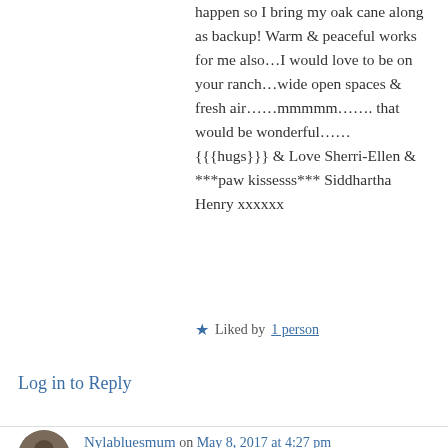happen so I bring my oak cane along as backup! Warm & peaceful works for me also…I would love to be on your ranch…wide open spaces & fresh air……mmmmm……. that would be wonderful……
{{{hugs}}} & Love Sherri-Ellen & ***paw kissesss*** Siddhartha Henry xxxxxx
★ Liked by 1 person
Log in to Reply
Nylabluesmum on May 8, 2017 at 4:27 pm
2017 has been one long day & night of 'crappola' HRCG! I am so worn out & weary I have no strength to even cry. Sometimes I just lie down